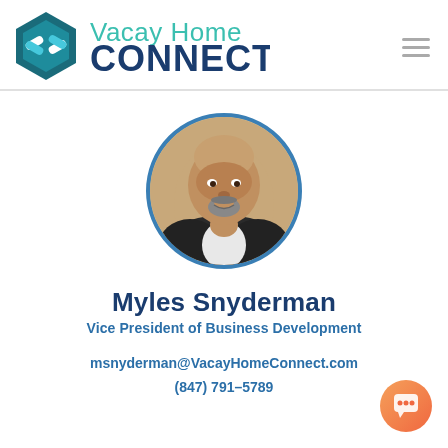[Figure (logo): Vacay Home Connect logo with hexagonal icon and text]
[Figure (photo): Circular portrait photo of Myles Snyderman, a middle-aged man with a goatee wearing a dark blazer]
Myles Snyderman
Vice President of Business Development
msnyderman@VacayHomeConnect.com
(847) 791-5789